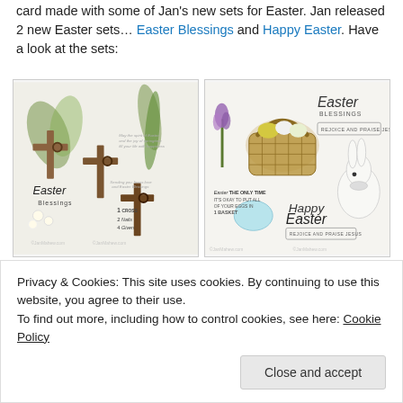card made with some of Jan's new sets for Easter. Jan released 2 new Easter sets… Easter Blessings and Happy Easter. Have a look at the sets:
[Figure (illustration): Easter Blessings stamp set showing wooden crosses with greenery, flowers, and text stamps including '1 Cross, 2 Nails, 4 Given', 'Sending you Jesus love and Easter Blessings', watermarked with JanMahew.com]
[Figure (illustration): Happy Easter stamp set showing Easter basket with eggs, bunny, purple tulip, Easter eggs, and text stamps including 'Easter Blessings', 'Rejoice and Praise Jesus', 'Happy Easter', watermarked with JanMahew.com]
Privacy & Cookies: This site uses cookies. By continuing to use this website, you agree to their use. To find out more, including how to control cookies, see here: Cookie Policy
Close and accept